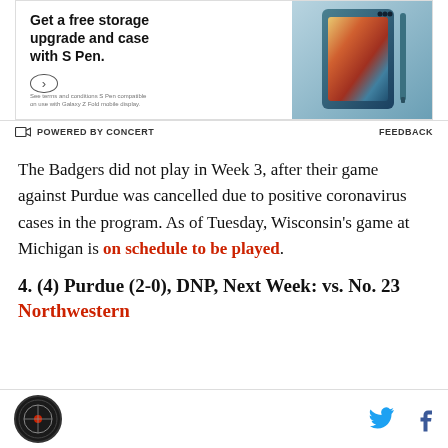[Figure (photo): Samsung Galaxy Z Fold advertisement showing 'Get a free storage upgrade and case with S Pen.' text on the left and a teal/dark green Samsung Galaxy Z Fold phone with S Pen on the right. Powered by Concert bar at the bottom with Feedback link.]
The Badgers did not play in Week 3, after their game against Purdue was cancelled due to positive coronavirus cases in the program. As of Tuesday, Wisconsin's game at Michigan is on schedule to be played.
4. (4) Purdue (2-0), DNP, Next Week: vs. No. 23 Northwestern